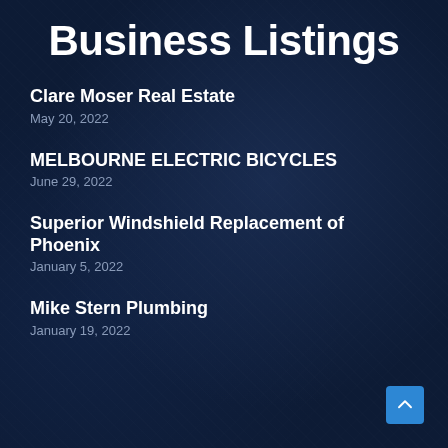Business Listings
Clare Moser Real Estate
May 20, 2022
MELBOURNE ELECTRIC BICYCLES
June 29, 2022
Superior Windshield Replacement of Phoenix
January 5, 2022
Mike Stern Plumbing
January 19, 2022